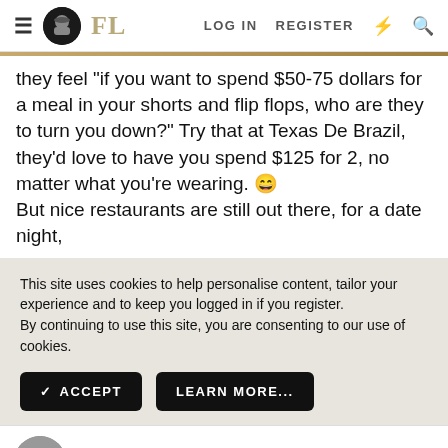FL — LOG IN  REGISTER
they feel "if you want to spend $50-75 dollars for a meal in your shorts and flip flops, who are they to turn you down?" Try that at Texas De Brazil, they'd love to have you spend $125 for 2, no matter what you're wearing. 😀 But nice restaurants are still out there, for a date night,
This site uses cookies to help personalise content, tailor your experience and to keep you logged in if you register.
By continuing to use this site, you are consenting to our use of cookies.
✓ ACCEPT   LEARN MORE...
scottyrocks
I'll Lock Up